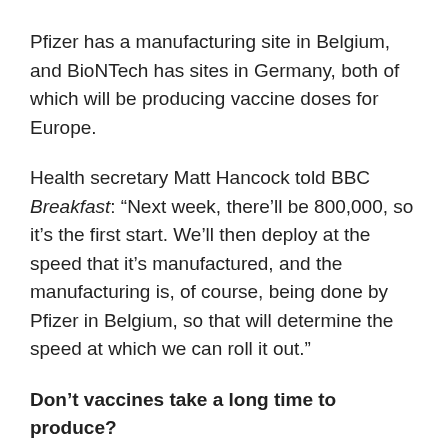Pfizer has a manufacturing site in Belgium, and BioNTech has sites in Germany, both of which will be producing vaccine doses for Europe.
Health secretary Matt Hancock told BBC Breakfast: “Next week, there’ll be 800,000, so it’s the first start. We’ll then deploy at the speed that it’s manufactured, and the manufacturing is, of course, being done by Pfizer in Belgium, so that will determine the speed at which we can roll it out.”
Don’t vaccines take a long time to produce?
In the past it has taken years, sometimes decades, to